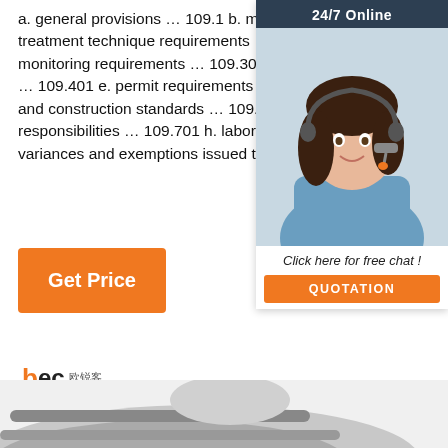a. general provisions … 109.1 b. mcls, mrdls or treatment technique requirements … 109.201 c. monitoring requirements … 109.301 d. public notification … 109.401 e. permit requirements … 109.501 f. design and construction standards … 109.601 g. system responsibilities … 109.701 h. laboratory certification … 109.801 i. variances and exemptions issued by thedepartment ...
[Figure (other): Orange 'Get Price' button]
[Figure (other): 24/7 Online chat widget with female customer service representative photo, 'Click here for free chat!' text and orange QUOTATION button]
[Figure (logo): BEC company logo with CE, certification and Alibaba trade assurance icons]
[Figure (other): Orange TOP badge with dot pattern]
[Figure (photo): Partial product image at bottom of page]